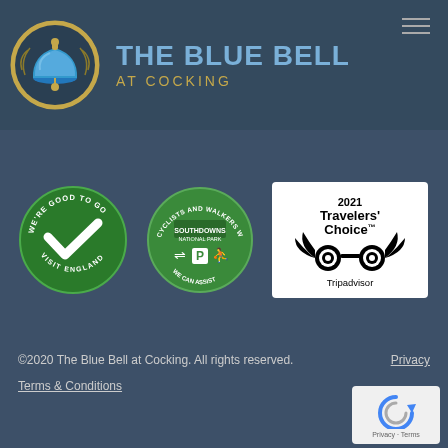[Figure (logo): The Blue Bell at Cocking logo: blue bell inside a gold circle, with leaves]
THE BLUE BELL AT COCKING
[Figure (logo): Visit England We're Good To Go green circular badge with checkmark]
[Figure (logo): South Downs National Park Cyclists and Walkers Welcome green circular badge]
[Figure (logo): 2021 Travelers' Choice Tripadvisor badge]
©2020 The Blue Bell at Cocking. All rights reserved.
Privacy
Terms & Conditions
[Figure (logo): Google reCAPTCHA badge with Privacy · Terms text]